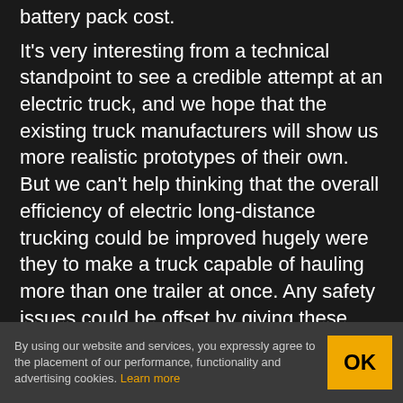battery pack cost.
It's very interesting from a technical standpoint to see a credible attempt at an electric truck, and we hope that the existing truck manufacturers will show us more realistic prototypes of their own. But we can't help thinking that the overall efficiency of electric long-distance trucking could be improved hugely were they to make a truck capable of hauling more than one trailer at once. Any safety issues could be offset by giving these super-trucks their own highways, and with
By using our website and services, you expressly agree to the placement of our performance, functionality and advertising cookies. Learn more